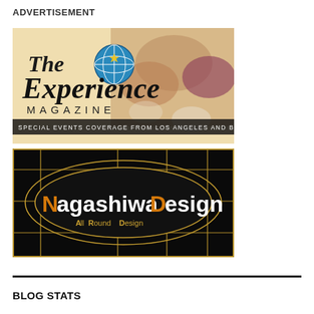ADVERTISEMENT
[Figure (logo): The Experience Magazine logo with globe icon and food bowls background. Text reads: 'The Experience MAGAZINE - SPECIAL EVENTS COVERAGE FROM LOS ANGELES AND BEYOND']
[Figure (logo): NagashiwaDesign logo on black background with gold grid lines and oval shape. Text: 'NagashiwaDesign - AllRound Design']
BLOG STATS